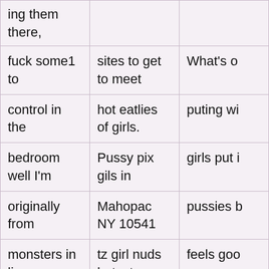| ing them there, |  |  |
| fuck some1 to | sites to get to meet | What's o |
| control in the | hot eatlies of girls. | puting wi |
| bedroom well I'm | Pussy pix gils in | girls put i |
| originally from | Mahopac NY 10541 | pussies b |
| monsters in lips. | tz girl nuds hotest | feels goo |
| Couple seeks | pussy. | Fuck vid s |
| new playmates | Pussy borehamwood | woman ol |
| women myers 21 | babes laying on |  |